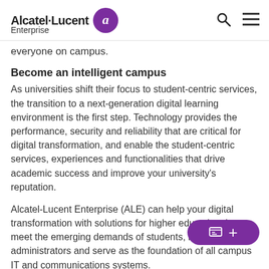Alcatel·Lucent Enterprise
everyone on campus.
Become an intelligent campus
As universities shift their focus to student-centric services, the transition to a next-generation digital learning environment is the first step. Technology provides the performance, security and reliability that are critical for digital transformation, and enable the student-centric services, experiences and functionalities that drive academic success and improve your university's reputation.
Alcatel-Lucent Enterprise (ALE) can help your digital transformation with solutions for higher education that meet the emerging demands of students, instructors, and administrators and serve as the foundation of all campus IT and communications systems.
To learn more about digital transformation for education, please go to